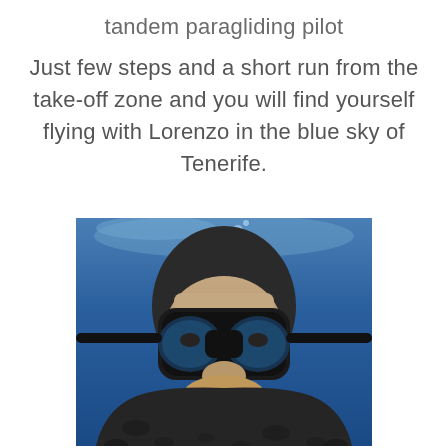tandem paragliding pilot
Just few steps and a short run from the take-off zone and you will find yourself flying with Lorenzo in the blue sky of Tenerife.
[Figure (photo): Underwater photo of a person wearing a black diving mask and wetsuit, smiling, in blue water.]